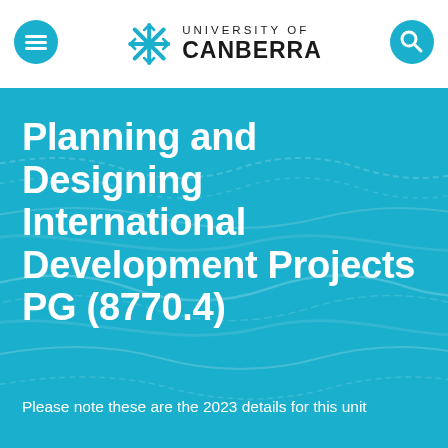University of Canberra
Planning and Designing International Development Projects PG (8770.4)
Please note these are the 2023 details for this unit